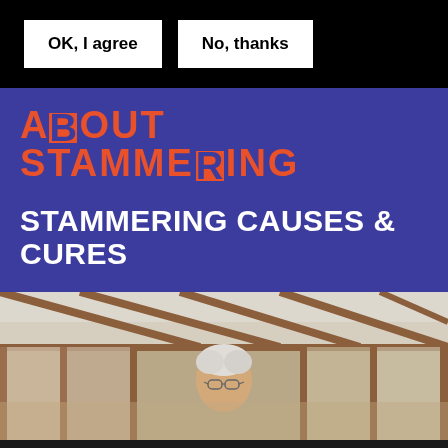OK, I agree
No, thanks
[Figure (logo): About Stammering logo in orange/red text on blue background with square block characters replacing letters]
STAMMERING CAUSES & CURES
[Figure (photo): Elderly person with white/gray hair and glasses, standing in or near a conservatory with wooden frame and glass roof, brick building visible in background]
CAN WE HELP?
Talk to us on webchat, phone or email
Open weekdays 10am-noon & 6pm-8pm, next open today 10am-12pm